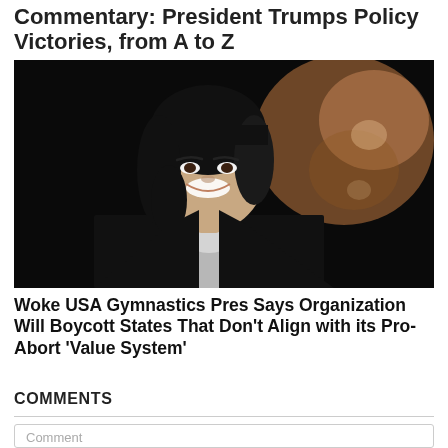Commentary: President Trumps Policy Victories, from A to Z
[Figure (photo): A smiling Asian woman in a black blazer and white shirt against a dark background, with a blurred image of a fetus visible in the upper right.]
Woke USA Gymnastics Pres Says Organization Will Boycott States That Don’t Align with its Pro-Abort ‘Value System’
COMMENTS
Comment